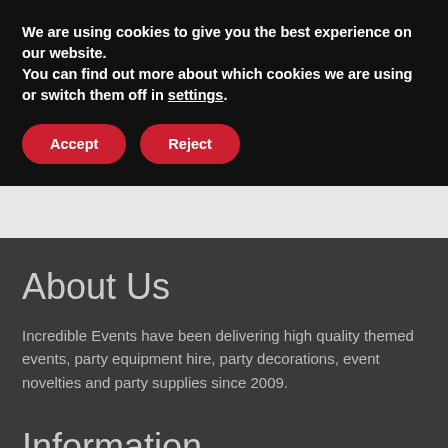We are using cookies to give you the best experience on our website.
You can find out more about which cookies we are using or switch them off in settings.
Accept
Reject
About Us
Incredible Events have been delivering high quality themed events, party equipment hire, party decorations, event novelties and party supplies since 2009.
Information